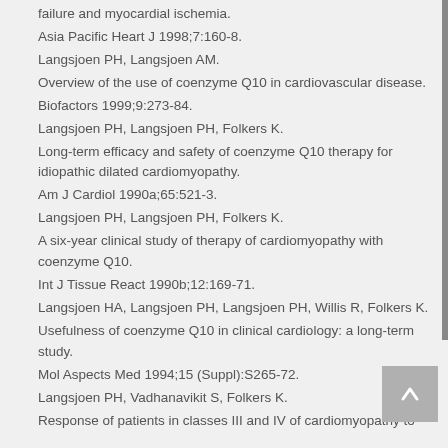failure and myocardial ischemia.
Asia Pacific Heart J 1998;7:160-8.
Langsjoen PH, Langsjoen AM.
Overview of the use of coenzyme Q10 in cardiovascular disease.
Biofactors 1999;9:273-84.
Langsjoen PH, Langsjoen PH, Folkers K.
Long-term efficacy and safety of coenzyme Q10 therapy for idiopathic dilated cardiomyopathy.
Am J Cardiol 1990a;65:521-3.
Langsjoen PH, Langsjoen PH, Folkers K.
A six-year clinical study of therapy of cardiomyopathy with coenzyme Q10.
Int J Tissue React 1990b;12:169-71.
Langsjoen HA, Langsjoen PH, Langsjoen PH, Willis R, Folkers K.
Usefulness of coenzyme Q10 in clinical cardiology: a long-term study.
Mol Aspects Med 1994;15 (Suppl):S265-72.
Langsjoen PH, Vadhanavikit S, Folkers K.
Response of patients in classes III and IV of cardiomyopathy to therapy in a blind and crossover trial with coenzyme Q10.